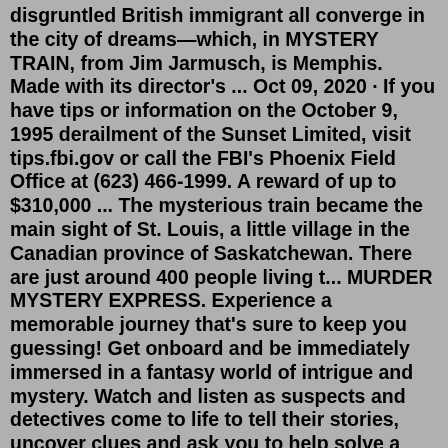disgruntled British immigrant all converge in the city of dreams—which, in MYSTERY TRAIN, from Jim Jarmusch, is Memphis. Made with its director's ... Oct 09, 2020 · If you have tips or information on the October 9, 1995 derailment of the Sunset Limited, visit tips.fbi.gov or call the FBI's Phoenix Field Office at (623) 466-1999. A reward of up to $310,000 ... The mysterious train became the main sight of St. Louis, a little village in the Canadian province of Saskatchewan. There are just around 400 people living t... MURDER MYSTERY EXPRESS. Experience a memorable journey that's sure to keep you guessing! Get onboard and be immediately immersed in a fantasy world of intrigue and mystery. Watch and listen as suspects and detectives come to life to tell their stories, uncover clues and ask you to help solve a murder mystery on the train. Mystery Train (1989) cast and crew credits, including actors, actresses, directors, writers and more. Menu. Movies. Release Calendar Top 250 Movies Most Popular ... Mystery Train Lyrics. [Verse 1] Train I ride, sixteen